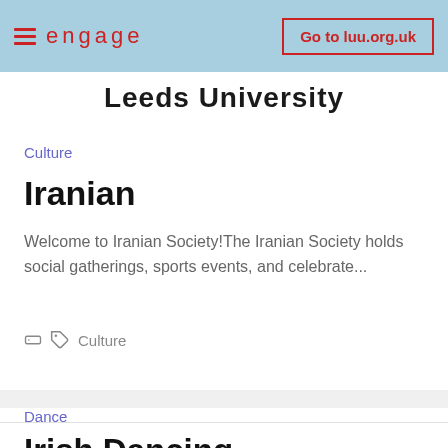≡ engage   Go to luu.org.uk
Leeds University
Culture
Iranian
Welcome to Iranian Society!The Iranian Society holds social gatherings, sports events, and celebrate...
Culture
Dance
Irish Dancing